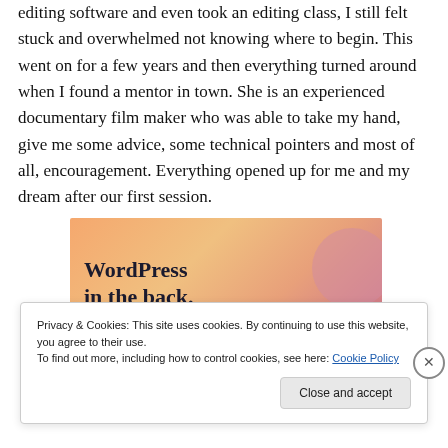editing software and even took an editing class, I still felt stuck and overwhelmed not knowing where to begin. This went on for a few years and then everything turned around when I found a mentor in town. She is an experienced documentary film maker who was able to take my hand, give me some advice, some technical pointers and most of all, encouragement. Everything opened up for me and my dream after our first session.
[Figure (other): Advertisement banner with colorful gradient background (orange, peach, pink) showing partial text 'WordPress in the back.' in bold dark font]
Privacy & Cookies: This site uses cookies. By continuing to use this website, you agree to their use.
To find out more, including how to control cookies, see here: Cookie Policy